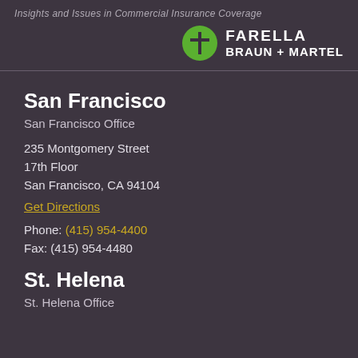Insights and Issues in Commercial Insurance Coverage
[Figure (logo): Farella Braun + Martel law firm logo with green circle icon and white text]
San Francisco
San Francisco Office
235 Montgomery Street
17th Floor
San Francisco, CA 94104
Get Directions
Phone: (415) 954-4400
Fax: (415) 954-4480
St. Helena
St. Helena Office